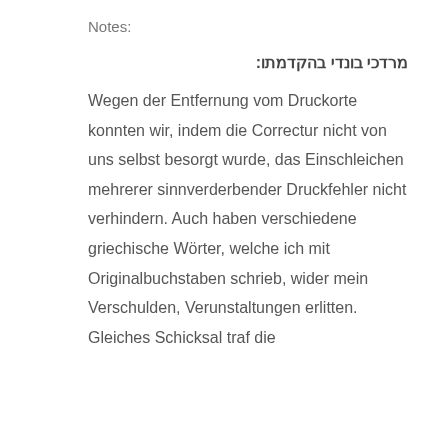Notes:
מרדכי בונדי בהקדמתו:
Wegen der Entfernung vom Druckorte konnten wir, indem die Correctur nicht von uns selbst besorgt wurde, das Einschleichen mehrerer sinnverderbender Druckfehler nicht verhindern. Auch haben verschiedene griechische Wörter, welche ich mit Originalbuchstaben schrieb, wider mein Verschulden, Verunstaltungen erlitten. Gleiches Schicksal traf die